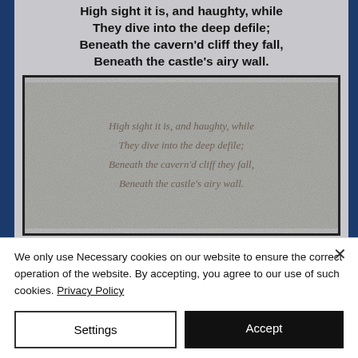High sight it is, and haughty, while
They dive into the deep defile;
Beneath the cavern'd cliff they fall,
Beneath the castle's airy wall.
[Figure (photo): Old printed text showing the same poem stanza on aged/grainy paper: 'High sight it is, and haughty, while / They dive into the deep defile; / Beneath the cavern'd cliff they fall, / Beneath the castle's airy wall.']
By rock, by oak, by Hawthorn tree,
Troop after troop are disappearing;
Troop after troop their banners rearing
We only use Necessary cookies on our website to ensure the correct operation of the website. By accepting, you agree to our use of such cookies. Privacy Policy